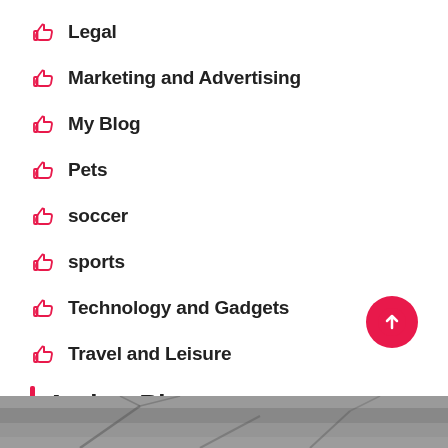Legal
Marketing and Advertising
My Blog
Pets
soccer
sports
Technology and Gadgets
Travel and Leisure
Author Bio
Hi I am Jaxon Boss a business analyst and part time blogger. I am crazy about gathering latest information around the world. I have started this blog to share my knowledge & experience.
[Figure (photo): Grayscale photo strip at the bottom of the page]